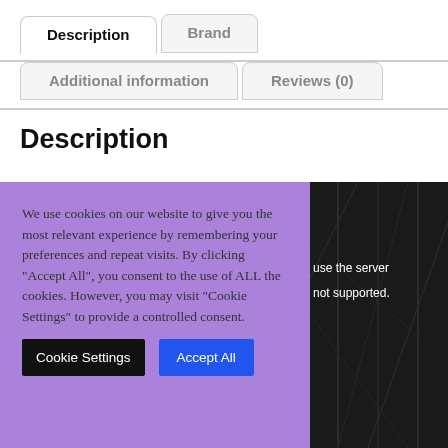Description
Brand
Additional information
Reviews (0)
Description
We use cookies on our website to give you the most relevant experience by remembering your preferences and repeat visits. By clicking "Accept All", you consent to the use of ALL the cookies. However, you may visit "Cookie Settings" to provide a controlled consent.
use the server not supported.
[Figure (photo): Dark background photo showing what appears to be a dark surface with crossing lines or cables]